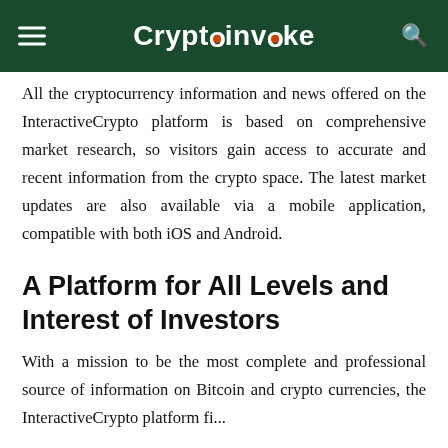Cryptoinvoke
All the cryptocurrency information and news offered on the InteractiveCrypto platform is based on comprehensive market research, so visitors gain access to accurate and recent information from the crypto space. The latest market updates are also available via a mobile application, compatible with both iOS and Android.
A Platform for All Levels and Interest of Investors
With a mission to be the most complete and professional source of information on Bitcoin and crypto currencies, the InteractiveCrypto platform fi...